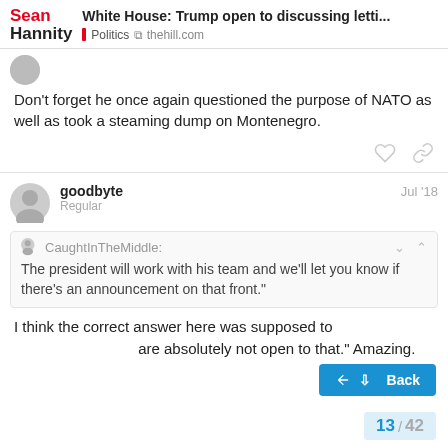White House: Trump open to discussing letti... | Politics | thehill.com
Don't forget he once again questioned the purpose of NATO as well as took a steaming dump on Montenegro.
goodbyte — Regular — Jul '18
CaughtInTheMiddle: The president will work with his team and we'll let you know if there's an announcement on that front."
I think the correct answer here was supposed to are absolutely not open to that." Amazing.